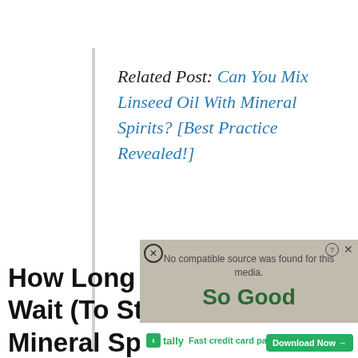Related Post: Can You Mix Linseed Oil With Mineral Spirits? [Best Practice Revealed!]
How Long Will I Have To Wait (To Stain) After Using Mineral Spirits?
[Figure (screenshot): Overlay advertisement for Tally app showing 'Fast credit card payoff' with a Download Now button, overlaid on a video player showing 'No compatible source was found for this media.' message with a decorative food background.]